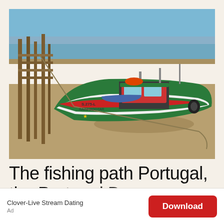[Figure (photo): A green and white Portuguese fishing boat with registration S-275-L RAINHADOTAR resting on sandy mudflat at low tide, moored next to a wooden dock/pier structure, with water and flat marshland visible in the background under a blue sky.]
The fishing path Portugal, the Portugal Designation the
Clover-Live Stream Dating
Ad
Download